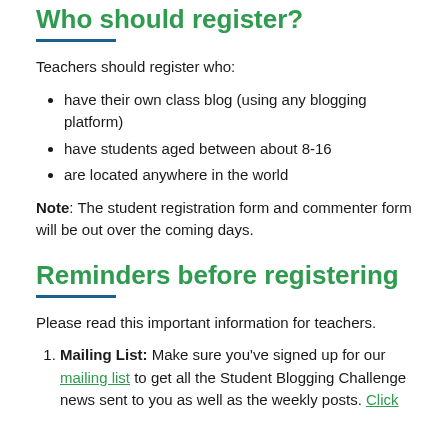Who should register?
Teachers should register who:
have their own class blog (using any blogging platform)
have students aged between about 8-16
are located anywhere in the world
Note: The student registration form and commenter form will be out over the coming days.
Reminders before registering
Please read this important information for teachers.
Mailing List: Make sure you've signed up for our mailing list to get all the Student Blogging Challenge news sent to you as well as the weekly posts. Click